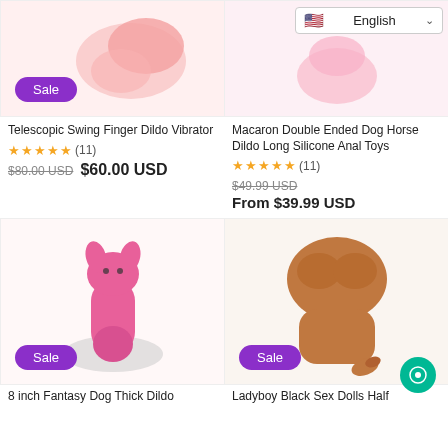[Figure (photo): Product image of Telescopic Swing Finger Dildo Vibrator, pink, with Sale badge]
[Figure (photo): Product image of Macaron Double Ended Dog Horse Dildo Long Silicone Anal Toys, pink, with English language selector]
Telescopic Swing Finger Dildo Vibrator
★★★★★(11)
$80.00 USD  $60.00 USD
Macaron Double Ended Dog Horse Dildo Long Silicone Anal Toys
★★★★★(11)
$49.99 USD  From $39.99 USD
[Figure (photo): 8 inch Fantasy Dog Thick Dildo, pink creature figure on grey base, with Sale badge]
[Figure (photo): Ladyboy Black Sex Dolls Half body torso product, brown skin tone, with Sale badge]
8 inch Fantasy Dog Thick Dildo
Ladyboy Black Sex Dolls Half